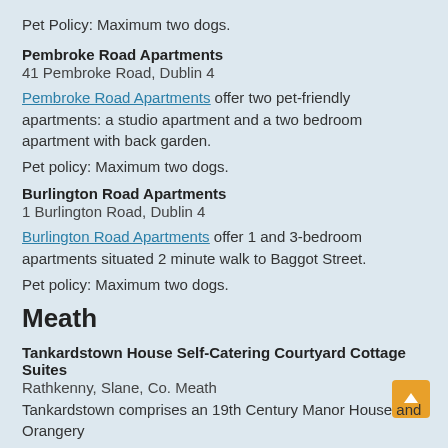Pet Policy: Maximum two dogs.
Pembroke Road Apartments
41 Pembroke Road, Dublin 4
Pembroke Road Apartments offer two pet-friendly apartments: a studio apartment and a two bedroom apartment with back garden.
Pet policy: Maximum two dogs.
Burlington Road Apartments
1 Burlington Road, Dublin 4
Burlington Road Apartments offer 1 and 3-bedroom apartments situated 2 minute walk to Baggot Street.
Pet policy: Maximum two dogs.
Meath
Tankardstown House Self-Catering Courtyard Cottage Suites
Rathkenny, Slane, Co. Meath
Tankardstown comprises an 19th Century Manor House and Orangery